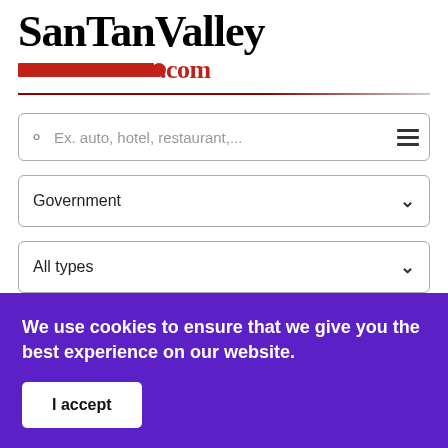SanTanValley.com
Ex. auto, hotel, restaurant,...
Government
All types
Location or zip code
We use cookies to ensure that we give you the best experience on our website.
I accept